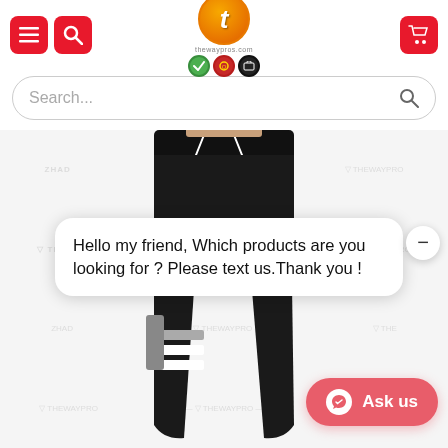Thewaypro.com - navigation and logo header
Search...
[Figure (photo): Black jogger pants product photo with white stripes on leg, shown with watermark THEWAYPRO overlay]
Hello my friend, Which products are you looking for ? Please text us.Thank you !
Ask us